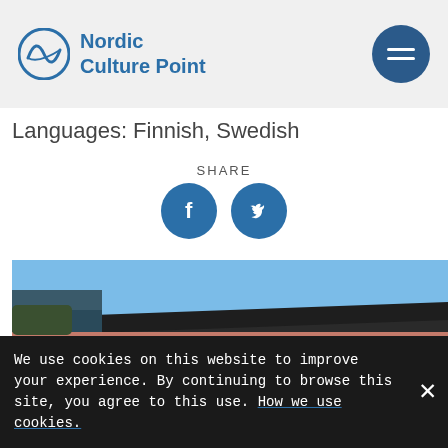Nordic Culture Point
Languages: Finnish, Swedish
SHARE
[Figure (other): Social share buttons: Facebook and Twitter icons (dark blue circles with white logos)]
[Figure (photo): Exterior of a red brick building with arched white-framed windows under a clear blue sky]
We use cookies on this website to improve your experience. By continuing to browse this site, you agree to this use. How we use cookies.